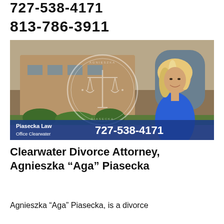727-538-4171
813-786-3911
[Figure (photo): Agnieszka 'Aga' Piasecka standing in front of a law office building. A semi-transparent circular Piasecka Law seal with scales of justice is overlaid on the image. A blue banner at the bottom reads 'Piasecka Law Office Clearwater 727-538-4171'.]
Clearwater Divorce Attorney, Agnieszka “Aga” Piasecka
Agnieszka “Aga” Piasecka, is a divorce